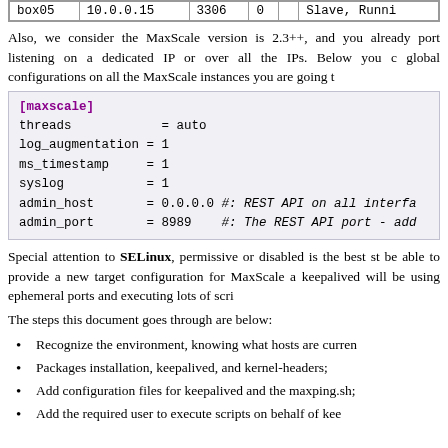|  | box05 | 10.0.0.15 | 3306 | 0 |  | Slave, Runni |
| --- | --- | --- | --- | --- | --- | --- |
|  | box05 | 10.0.0.15 | 3306 | 0 |  | Slave, Runni |
Also, we consider the MaxScale version is 2.3++, and you already port listening on a dedicated IP or over all the IPs. Below you c global configurations on all the MaxScale instances you are going t
[maxscale]
threads = auto
log_augmentation = 1
ms_timestamp = 1
syslog = 1
admin_host = 0.0.0.0 #: REST API on all interfa
admin_port = 8989 #: The REST API port - add
Special attention to SELinux, permissive or disabled is the best st be able to provide a new target configuration for MaxScale a keepalived will be using ephemeral ports and executing lots of scri
The steps this document goes through are below:
Recognize the environment, knowing what hosts are curren
Packages installation, keepalived, and kernel-headers;
Add configuration files for keepalived and the maxping.sh;
Add the required user to execute scripts on behalf of kee